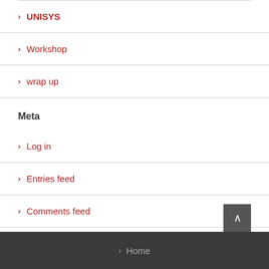UNISYS
Workshop
wrap up
Meta
Log in
Entries feed
Comments feed
WordPress.org
Home